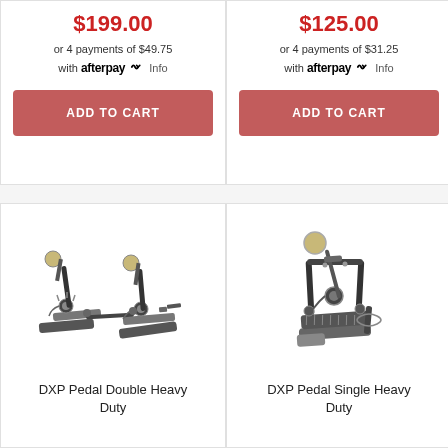$199.00
or 4 payments of $49.75
with afterpay Info
ADD TO CART
$125.00
or 4 payments of $31.25
with afterpay Info
ADD TO CART
[Figure (photo): DXP double bass drum pedal, heavy duty, black metal construction with two beaters]
DXP Pedal Double Heavy Duty
[Figure (photo): DXP single bass drum pedal, heavy duty, black metal construction with one beater]
DXP Pedal Single Heavy Duty